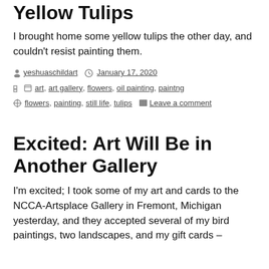Yellow Tulips
I brought home some yellow tulips the other day, and couldn't resist painting them.
by yeshuaschildart  January 17, 2020
art, art gallery, flowers, oil painting, paintng
flowers, painting, still life, tulips  Leave a comment
Excited: Art Will Be in Another Gallery
I'm excited; I took some of my art and cards to the NCCA-Artsplace Gallery in Fremont, Michigan yesterday, and they accepted several of my bird paintings, two landscapes, and my gift cards –